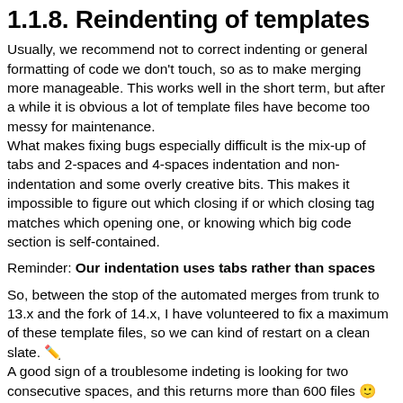1.1.8. Reindenting of templates
Usually, we recommend not to correct indenting or general formatting of code we don't touch, so as to make merging more manageable. This works well in the short term, but after a while it is obvious a lot of template files have become too messy for maintenance.
What makes fixing bugs especially difficult is the mix-up of tabs and 2-spaces and 4-spaces indentation and non-indentation and some overly creative bits. This makes it impossible to figure out which closing if or which closing tag matches which opening one, or knowing which big code section is self-contained.
Reminder: Our indentation uses tabs rather than spaces
So, between the stop of the automated merges from trunk to 13.x and the fork of 14.x, I have volunteered to fix a maximum of these template files, so we can kind of restart on a clean slate. ✏️
A good sign of a troublesome indeting is looking for two consecutive spaces, and this returns more than 600 files 🙂